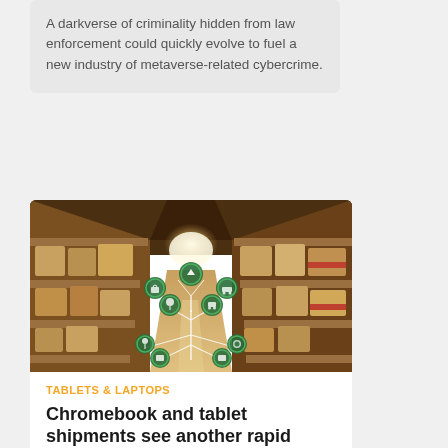A darkverse of criminality hidden from law enforcement could quickly evolve to fuel a new industry of metaverse-related cybercrime.
[Figure (photo): Warehouse aisle with shelves of cardboard boxes on both sides, with a digitally overlaid supply chain / IoT network graphic showing green circular icons connected by lines emanating from a central circuit-board tree shape, with bright light at the end of the aisle.]
TABLETS & LAPTOPS
Chromebook and tablet shipments see another rapid decline for the year
According to research from Canalys